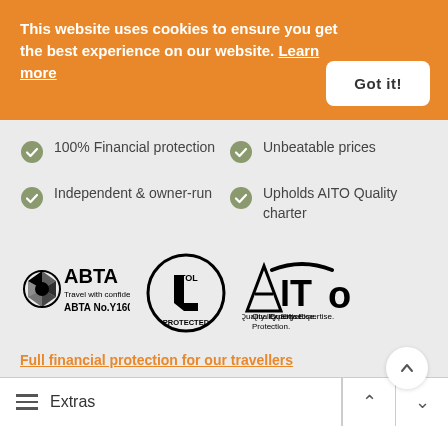This website uses cookies to ensure you get the best experience on our website. Learn more
Got it!
100% Financial protection
Unbeatable prices
Independent & owner-run
Upholds AITO Quality charter
[Figure (logo): ABTA logo - Travel with confidence, ABTA No.Y1608]
[Figure (logo): ATOL Protected circular logo]
[Figure (logo): AITO Quality. Expertise. Protection. logo]
Full financial protection for our travellers
Extras